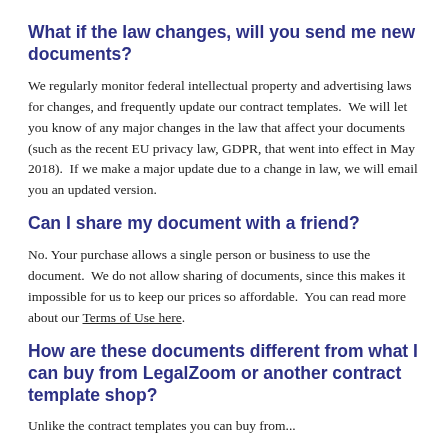What if the law changes, will you send me new documents?
We regularly monitor federal intellectual property and advertising laws for changes, and frequently update our contract templates.  We will let you know of any major changes in the law that affect your documents (such as the recent EU privacy law, GDPR, that went into effect in May 2018).  If we make a major update due to a change in law, we will email you an updated version.
Can I share my document with a friend?
No. Your purchase allows a single person or business to use the document.  We do not allow sharing of documents, since this makes it impossible for us to keep our prices so affordable.  You can read more about our Terms of Use here.
How are these documents different from what I can buy from LegalZoom or another contract template shop?
Unlike the contract templates you can buy from...